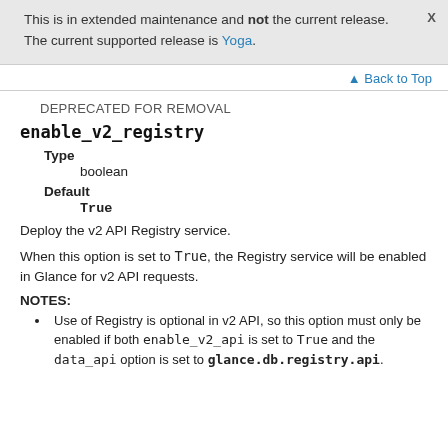This is in extended maintenance and not the current release. The current supported release is Yoga.
Back to Top
DEPRECATED FOR REMOVAL
enable_v2_registry
Type
boolean
Default
True
Deploy the v2 API Registry service.
When this option is set to True, the Registry service will be enabled in Glance for v2 API requests.
NOTES:
Use of Registry is optional in v2 API, so this option must only be enabled if both enable_v2_api is set to True and the data_api option is set to glance.db.registry.api.